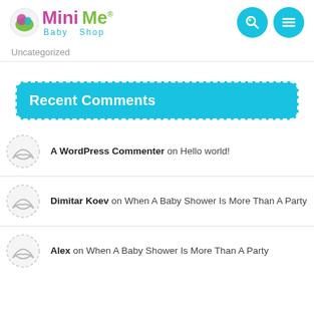Mini Me Baby Shop logo with search and menu icons
Uncategorized
Recent Comments
A WordPress Commenter on Hello world!
Dimitar Koev on When A Baby Shower Is More Than A Party
Alex on When A Baby Shower Is More Than A Party